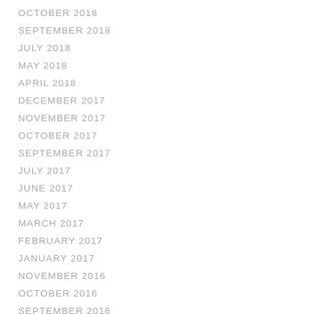OCTOBER 2018
SEPTEMBER 2018
JULY 2018
MAY 2018
APRIL 2018
DECEMBER 2017
NOVEMBER 2017
OCTOBER 2017
SEPTEMBER 2017
JULY 2017
JUNE 2017
MAY 2017
MARCH 2017
FEBRUARY 2017
JANUARY 2017
NOVEMBER 2016
OCTOBER 2016
SEPTEMBER 2016
AUGUST 2016